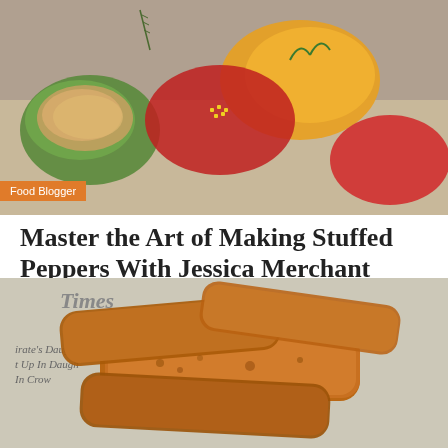[Figure (photo): Stuffed peppers with colorful vegetables, topped with breadcrumbs, photographed from above on a rustic background]
Food Blogger
Master the Art of Making Stuffed Peppers With Jessica Merchant
Steve S – September 1, 2022
Peppers are one of the most versatile veggies on the market, but if we had to pick the most popular dish to...
[Figure (photo): Fried food items (fingers/sticks) served on newspaper, golden brown and crispy]